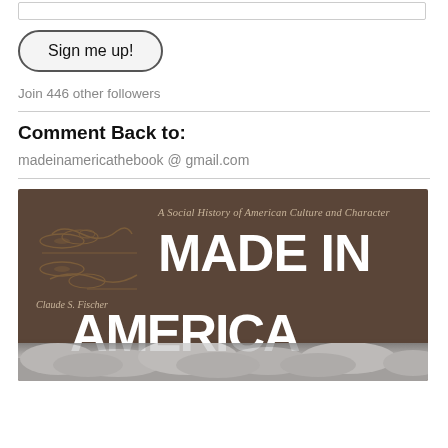[Figure (screenshot): A text input box (email/name field) at the top of a blog sidebar widget]
Sign me up!
Join 446 other followers
Comment Back to:
madeinamericathebook @ gmail.com
[Figure (photo): Book cover for 'Made in America: A Social History of American Culture and Character' by Claude S. Fischer. Brown background with large white bold text, decorative swirl illustration on left, clouds at bottom.]